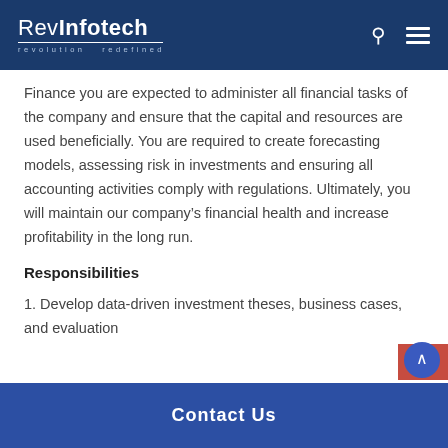RevInfotech — revolution redefined
Finance you are expected to administer all financial tasks of the company and ensure that the capital and resources are used beneficially. You are required to create forecasting models, assessing risk in investments and ensuring all accounting activities comply with regulations. Ultimately, you will maintain our company's financial health and increase profitability in the long run.
Responsibilities
1. Develop data-driven investment theses, business cases, and evaluation
Contact Us